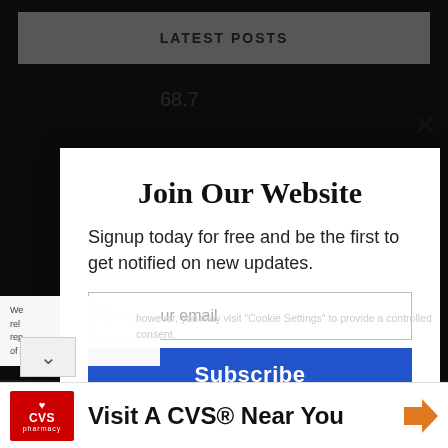LATEST POSTS
68.7
[Figure (screenshot): Website newsletter subscription modal popup overlay with title 'Join Our Website', body text 'Signup today for free and be the first to get notified on new updates.', an email input field, and a blue Subscribe button. A close (X) button is visible at top right. 'Powered by MailMunch' credit at bottom right.]
Join Our Website
Signup today for free and be the first to get notified on new updates.
Enter your email
Subscribe
Powered by MailMunch
We... rel... rep... of A... however, you may visit "Cookie Settings" to provide a controlled consent.
Visit A CVS® Near You